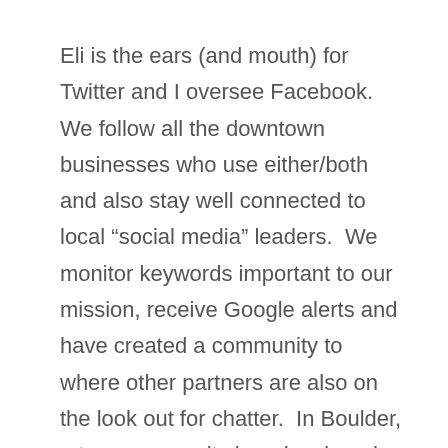Eli is the ears (and mouth) for Twitter and I oversee Facebook.   We follow all the downtown businesses who use either/both and also stay well connected to local “social media” leaders.  We monitor keywords important to our mission, receive Google alerts and have created a community to where other partners are also on the look out for chatter.  In Boulder, a true community has developed through social media.   By listening to what our followers are talking about, we’ve been able to join in on the conversation and engage them in a meaningful way.